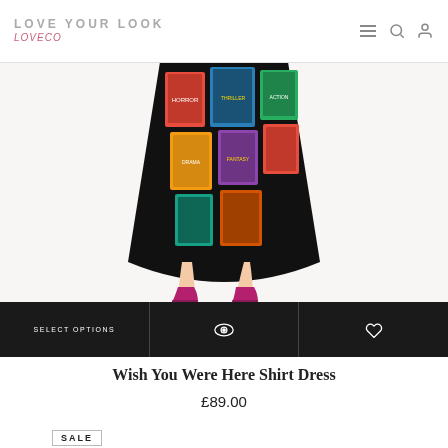LOVE YOUR LOOK / LoveCo
[Figure (photo): Lower half of a model wearing a colorful vintage movie poster print flared/skater dress, with magenta/fuchsia suede ankle boots, shown against a white background. The dress features vivid collage-style print with retro film imagery.]
SELECT OPTIONS
Wish You Were Here Shirt Dress
£89.00
SALE